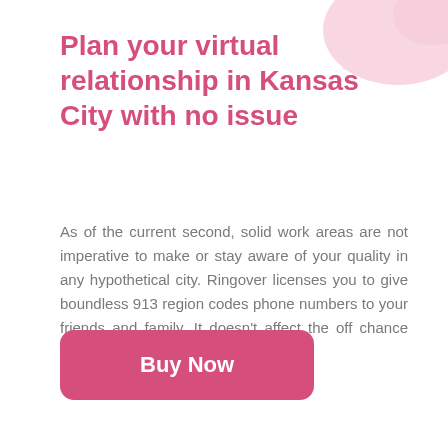Plan your virtual relationship in Kansas City with no issue
As of the current second, solid work areas are not imperative to make or stay aware of your quality in any hypothetical city. Ringover licenses you to give boundless 913 region codes phone numbers to your friends and family. It doesn't affect the off chance that business visionary pack.
Buy Now